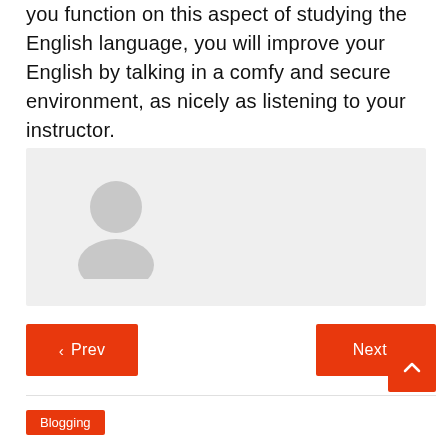you function on this aspect of studying the English language, you will improve your English by talking in a comfy and secure environment, as nicely as listening to your instructor.
[Figure (illustration): Gray placeholder avatar icon showing a generic user silhouette (head and shoulders) on a light gray background]
< Prev
Next >
Blogging